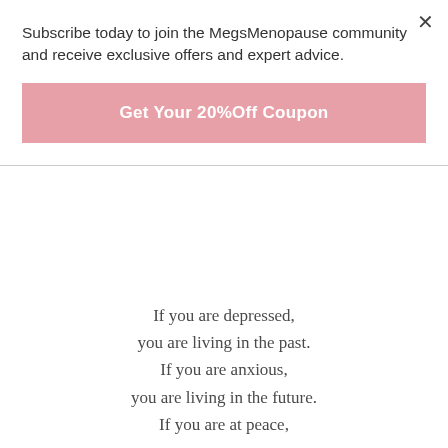Subscribe today to join the MegsMenopause community and receive exclusive offers and expert advice.
Get Your 20%Off Coupon
If you are depressed,
you are living in the past.
If you are anxious,
you are living in the future.
If you are at peace,